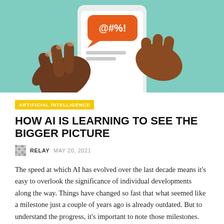[Figure (illustration): Illustration of two hands holding a smartphone displaying an orange speech bubble with '@#%!' symbols on a teal/green background, suggesting online harassment or toxic content.]
ARTIFICIAL INTELLIGENCE
HOW AI IS LEARNING TO SEE THE BIGGER PICTURE
RELAY  MAY 20, 2021
The speed at which AI has evolved over the last decade means it's easy to overlook the significance of individual developments along the way. Things have changed so fast that what seemed like a milestone just a couple of years ago is already outdated. But to understand the progress, it's important to note those milestones.